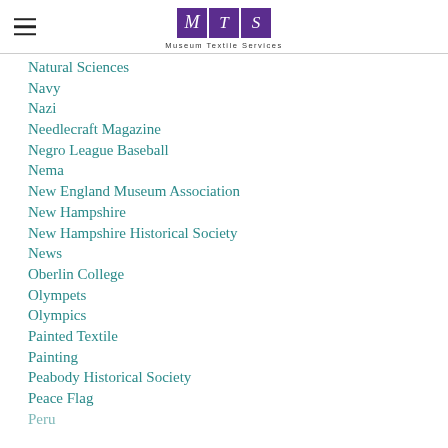[Figure (logo): Museum Textile Services logo with hamburger menu icon. Purple square boxes with letters M, T, S and text 'Museum Textile Services' below.]
Natural Sciences
Navy
Nazi
Needlecraft Magazine
Negro League Baseball
Nema
New England Museum Association
New Hampshire
New Hampshire Historical Society
News
Oberlin College
Olympets
Olympics
Painted Textile
Painting
Peabody Historical Society
Peace Flag
Peru